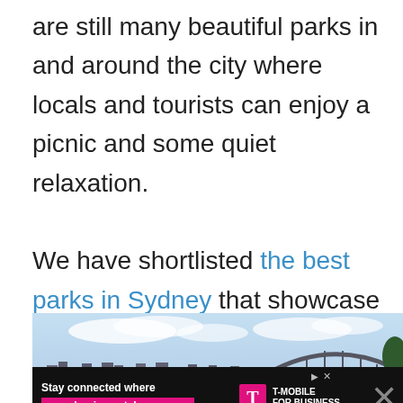are still many beautiful parks in and around the city where locals and tourists can enjoy a picnic and some quiet relaxation.

We have shortlisted the best parks in Sydney that showcase the beauty of the city and its surroundings.
[Figure (photo): Sydney harbour skyline photo showing city buildings and the Harbour Bridge under a partly cloudy blue sky]
[Figure (other): T-Mobile advertisement banner: 'Stay connected where your business takes you' with T-Mobile for Business logo]